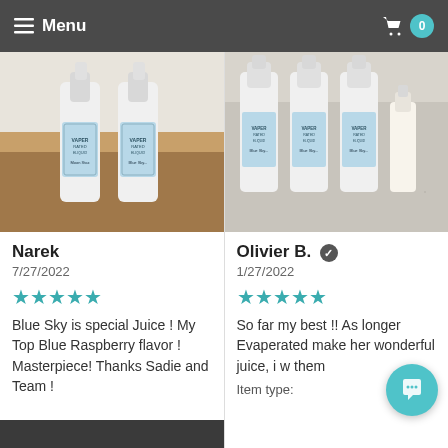≡ Menu  🛒 0
[Figure (photo): Two vape juice bottles labeled 'VAPER RATED ELIQUID' Blue Sky flavor on a wooden table]
Narek
7/27/2022
★★★★★
Blue Sky is special Juice ! My Top Blue Raspberry flavor ! Masterpiece! Thanks Sadie and Team !
[Figure (photo): Multiple vape juice bottles labeled 'VAPER RATED ELIQUID' Blue Sky flavor on a granite countertop]
Olivier B. ✓
1/27/2022
★★★★★
So far my best !! As longer Evaperated make her wonderful juice, i w them
Item type: